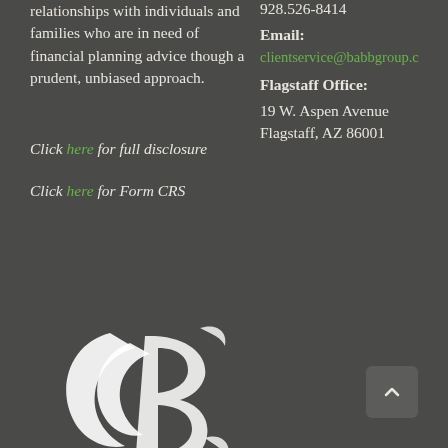relationships with individuals and families who are in need of financial planning advice though a prudent, unbiased approach.
928.526-8414
Email:
clientservice@babbgroup.c
Flagstaff Office:
19 W. Aspen Avenue
Flagstaff, AZ 86001
Click here for full disclosure
Click here for Form CRS
[Figure (logo): Babb Group logo — white stylized letter B with swoosh marks on dark background]
[Figure (other): Back-to-top button — dark rounded square with upward chevron arrow]